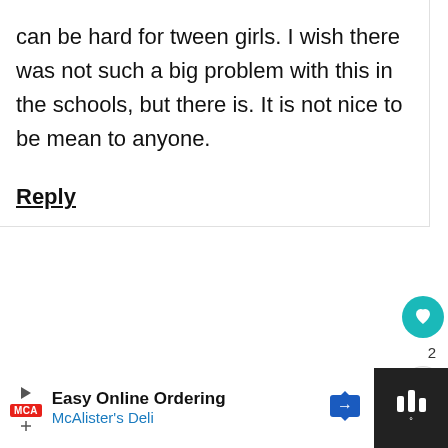can be hard for tween girls. I wish there was not such a big problem with this in the schools, but there is. It is not nice to be mean to anyone.
Reply
Debbie Dodge
September 20, 2013 at 3:31 PM
[Figure (infographic): WHAT'S NEXT arrow label with thumbnail image and text: 2017 Gift Guide for...]
[Figure (infographic): Advertisement banner: Easy Online Ordering - McAlister's Deli with play button, MCA badge, direction sign icon, and audio bars icon]